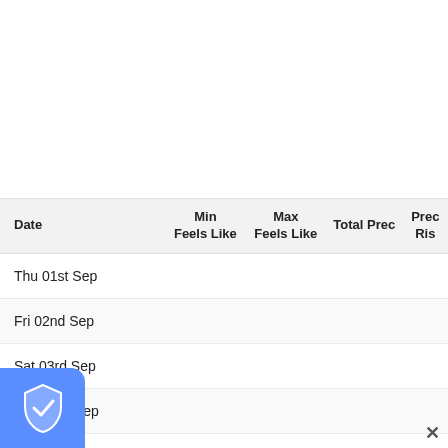| Date | Min
Feels Like | Max
Feels Like | Total Prec | Prec Ris |
| --- | --- | --- | --- | --- |
| Thu 01st Sep |  |  |  |  |
| Fri 02nd Sep |  |  |  |  |
| Sat 03rd Sep |  |  |  |  |
| Sun 04th Sep |  |  |  |  |
| Mon 05th Sep |  |  |  |  |